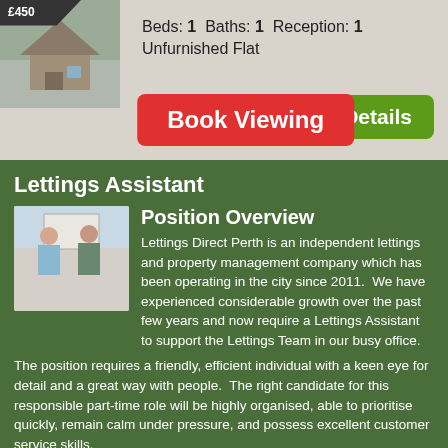[Figure (photo): Property exterior photo with £450 price tag overlay in top-left corner]
Beds: 1  Baths: 1  Reception: 1
Unfurnished Flat
Details
Book Viewing
Lettings Assistant
[Figure (photo): Two people in a room, one appears to be a letting agent showing a property]
Position Overview
Lettings Direct Perth is an independent lettings and property management company which has been operating in the city since 2011.  We have experienced considerable growth over the past few years and now require a Lettings Assistant to support the Lettings Team in our busy office.
The position requires a friendly, efficient individual with a keen eye for detail and a great way with people.  The right candidate for this responsible part-time role will be highly organised, able to prioritise quickly, remain calm under pressure, and possess excellent customer service skills.
Based at our city centre office, this person will be a first point of